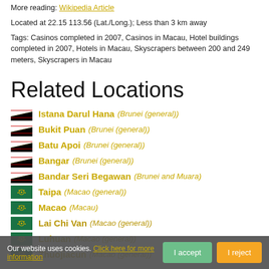More reading: Wikipedia Article
Located at 22.15 113.56 (Lat./Long.); Less than 3 km away
Tags: Casinos completed in 2007, Casinos in Macau, Hotel buildings completed in 2007, Hotels in Macau, Skyscrapers between 200 and 249 meters, Skyscrapers in Macau
Related Locations
Istana Darul Hana (Brunei (general))
Bukit Puan (Brunei (general))
Batu Apoi (Brunei (general))
Bangar (Brunei (general))
Bandar Seri Begawan (Brunei and Muara)
Taipa (Macao (general))
Macao (Macau)
Lai Chi Van (Macao (general))
Luhuan (Macao (general))
Zhuojiacun (Macao (general))
Our website uses cookies. Click here for more information